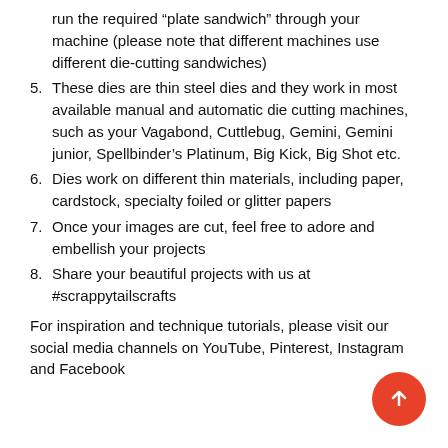run the required “plate sandwich” through your machine (please note that different machines use different die-cutting sandwiches)
5. These dies are thin steel dies and they work in most available manual and automatic die cutting machines, such as your Vagabond, Cuttlebug, Gemini, Gemini junior, Spellbinder’s Platinum, Big Kick, Big Shot etc.
6. Dies work on different thin materials, including paper, cardstock, specialty foiled or glitter papers
7. Once your images are cut, feel free to adore and embellish your projects
8. Share your beautiful projects with us at #scrappytailscrafts
For inspiration and technique tutorials, please visit our social media channels on YouTube, Pinterest, Instagram and Facebook